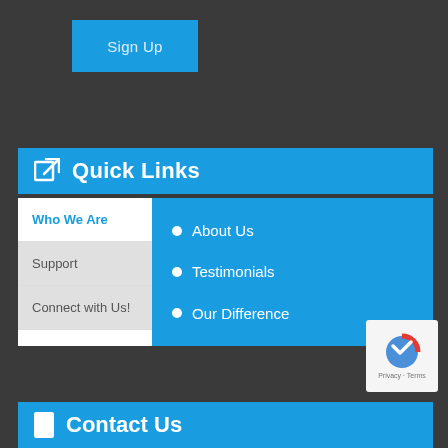Sign Up
Quick Links
Who We Are
Support
Connect with Us!
About Us
Testimonials
Our Difference
[Figure (logo): reCAPTCHA badge with Privacy and Terms text]
Contact Us